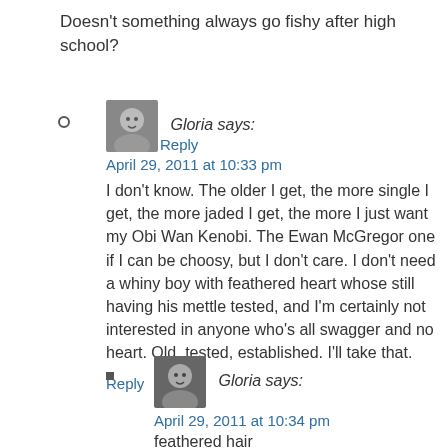Doesn't something always go fishy after high school?
Reply
Gloria says:
April 29, 2011 at 10:33 pm
I don't know. The older I get, the more single I get, the more jaded I get, the more I just want my Obi Wan Kenobi. The Ewan McGregor one if I can be choosy, but I don't care. I don't need a whiny boy with feathered heart whose still having his mettle tested, and I'm certainly not interested in anyone who's all swagger and no heart. Old, tested, established. I'll take that.
Reply
Gloria says:
April 29, 2011 at 10:34 pm
feathered hair